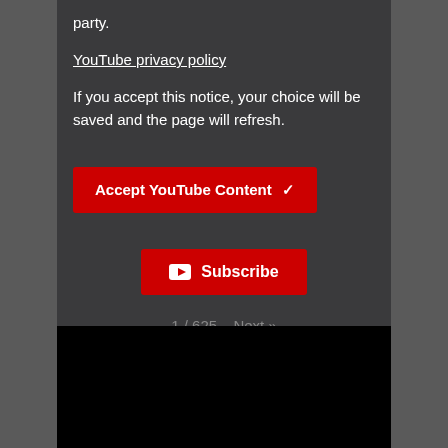party.
YouTube privacy policy
If you accept this notice, your choice will be saved and the page will refresh.
Accept YouTube Content ✓
[Figure (screenshot): Red Subscribe button with YouTube logo icon]
1 / 625  Next »
[Figure (screenshot): Black video player area]